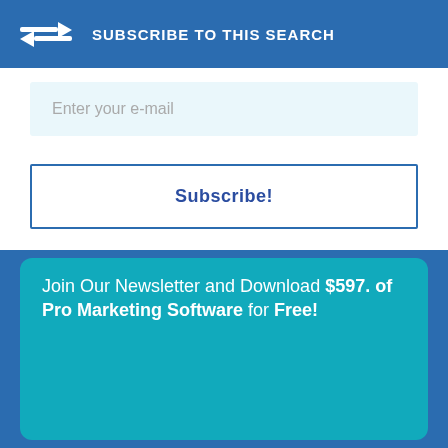[Figure (infographic): Blue banner with RSS/subscribe icon arrows and text SUBSCRIBE TO THIS SEARCH]
Enter your e-mail
Subscribe!
Join Our Newsletter and Download $597. of Pro Marketing Software for Free!